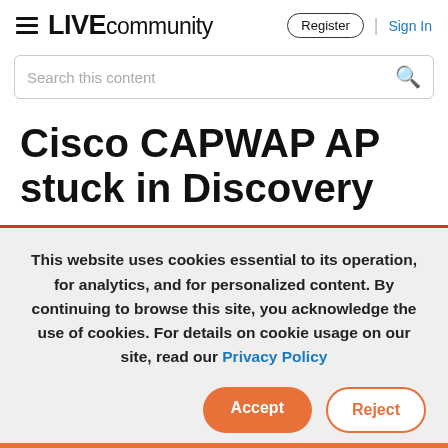LIVE community | Register | Sign In
Search this content
Cisco CAPWAP AP stuck in Discovery
This website uses cookies essential to its operation, for analytics, and for personalized content. By continuing to browse this site, you acknowledge the use of cookies. For details on cookie usage on our site, read our Privacy Policy
Accept | Reject